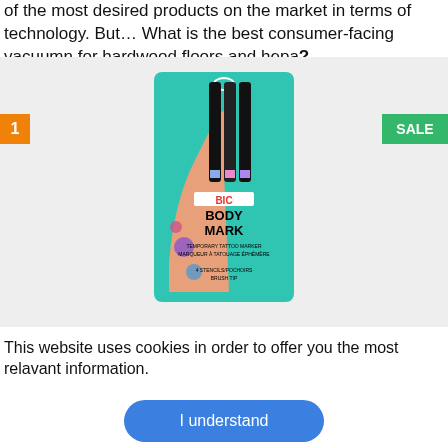of the most desired products on the market in terms of technology. But… What is the best consumer-facing vacuumn for hardwood floors and hepa?
[Figure (photo): Product image of BIC Body Mark temporary tattoo markers in a teal package, shown with a hand holding markers and a tattooed arm. Badge '1' in orange top-left, 'SALE' badge in green top-right.]
This website uses cookies in order to offer you the most relavant information.
I understand